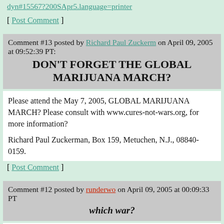dyn#15567?200SApr5.language=printer
[ Post Comment ]
Comment #13 posted by Richard Paul Zuckerm on April 09, 2005 at 09:52:39 PT:
DON'T FORGET THE GLOBAL MARIJUANA MARCH?
Please attend the May 7, 2005, GLOBAL MARIJUANA MARCH? Please consult with www.cures-not-wars.org, for more information?

Richard Paul Zuckerman, Box 159, Metuchen, N.J., 08840-0159.
[ Post Comment ]
Comment #12 posted by runderwo on April 09, 2005 at 00:09:33 PT
which war?
She uses the term "war on some drugs" which I've seen before and nicely promotes the hypocrisy. Another fitting one is "war on drug users". People need to face it that